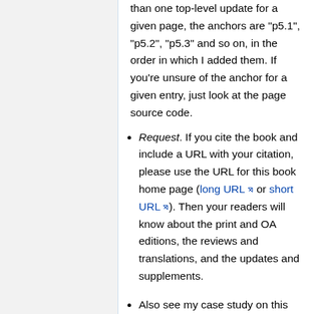than one top-level update for a given page, the anchors are "p5.1", "p5.2", "p5.3" and so on, in the order in which I added them. If you're unsure of the anchor for a given entry, just look at the page source code.
Request. If you cite the book and include a URL with your citation, please use the URL for this book home page (long URL or short URL). Then your readers will know about the print and OA editions, the reviews and translations, and the updates and supplements.
Also see my case study on this book, A living open book, in Hazel Woodward, ed., Ebooks for education: Realising the vision, Ubiquity Press, November 2014, pp.